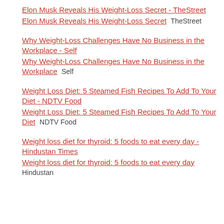Elon Musk Reveals His Weight-Loss Secret - TheStreet
Elon Musk Reveals His Weight-Loss Secret  TheStreet
Why Weight-Loss Challenges Have No Business in the Workplace - Self
Why Weight-Loss Challenges Have No Business in the Workplace  Self
Weight Loss Diet: 5 Steamed Fish Recipes To Add To Your Diet - NDTV Food
Weight Loss Diet: 5 Steamed Fish Recipes To Add To Your Diet  NDTV Food
Weight loss diet for thyroid: 5 foods to eat every day - Hindustan Times
Weight loss diet for thyroid: 5 foods to eat every day  Hindustan Times